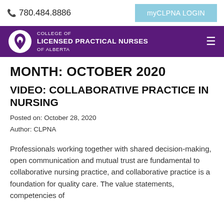780.484.8886   myCLPNA LOGIN
[Figure (logo): College of Licensed Practical Nurses of Alberta logo with purple background navigation bar]
MONTH: OCTOBER 2020
VIDEO: COLLABORATIVE PRACTICE IN NURSING
Posted on: October 28, 2020
Author: CLPNA
Professionals working together with shared decision-making, open communication and mutual trust are fundamental to collaborative nursing practice, and collaborative practice is a foundation for quality care. The value statements, competencies of